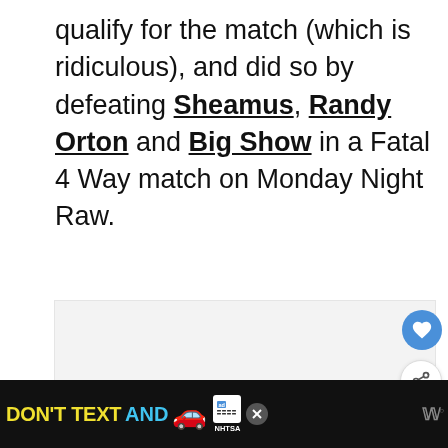qualify for the match (which is ridiculous), and did so by defeating Sheamus, Randy Orton and Big Show in a Fatal 4 Way match on Monday Night Raw.
[Figure (screenshot): Gray/white image area placeholder with UI overlay buttons (heart/like button, share button) and a 'What's Next' card showing a thumbnail of a wrestling image and text 'Why Vince McMahon...']
[Figure (infographic): Advertisement banner at bottom: black background with yellow text 'DON'T TEXT AND', cyan 'AND', red car emoji, ad badge with 'ad' icon, NHTSA logo, close X button, and 'W' logo on right side.]